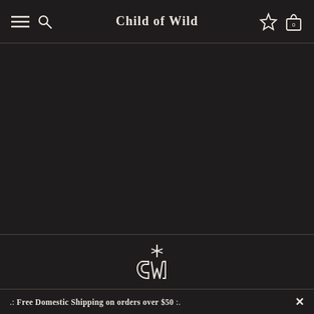Child of Wild
[Figure (other): Dark hero area with no visible content]
[Figure (logo): Child of Wild monogram logo - stylized CW letters with a cross/star element]
We believe objects with past lives or cultural relevance have a depth that can be felt. Join us in bringing the world full circle and explore cultures and rituals that share the common thread of humanity. Stay wild.
.: Free Domestic Shipping on orders over $50 :.